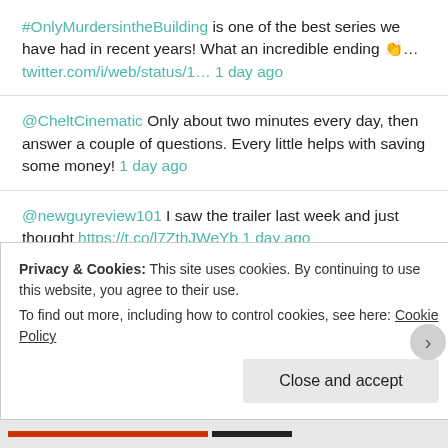#OnlyMurdersintheBuilding is one of the best series we have had in recent years! What an incredible ending 👏... twitter.com/i/web/status/1… 1 day ago
@CheltCinematic Only about two minutes every day, then answer a couple of questions. Every little helps with saving some money! 1 day ago
@newguyreview101 I saw the trailer last week and just thought https://t.co/l7ZthJWeYb 1 day ago
@CheltCinematic Something new I have just signed up with, was on my EE account. If you wanted the sponsored ads
Privacy & Cookies: This site uses cookies. By continuing to use this website, you agree to their use.
To find out more, including how to control cookies, see here: Cookie Policy
Close and accept